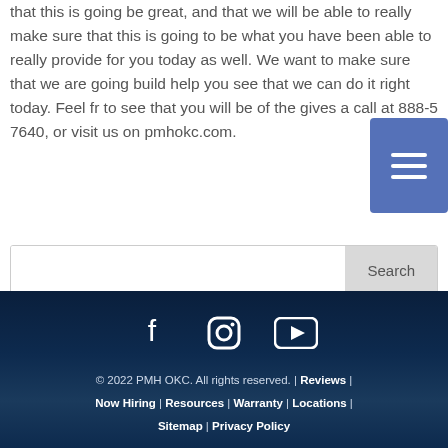that this is going be great, and that we will be able to really make sure that this is going to be what you have been able to really provide for you today as well. We want to make sure that we are going build help you see that we can do it right today. Feel fr to see that you will be of the gives a call at 888-5 7640, or visit us on pmhokc.com.
© 2022 PMH OKC. All rights reserved. | Reviews | Now Hiring | Resources | Warranty | Locations | Sitemap | Privacy Policy